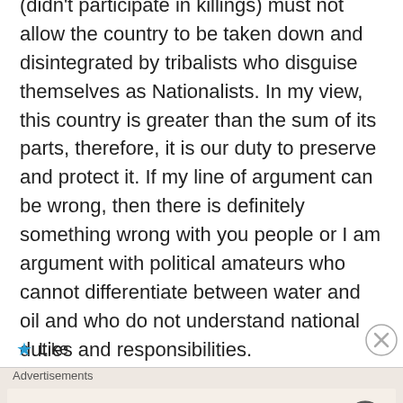(didn't participate in killings) must not allow the country to be taken down and disintegrated by tribalists who disguise themselves as Nationalists. In my view, this country is greater than the sum of its parts, therefore, it is our duty to preserve and protect it. If my line of argument can be wrong, then there is definitely something wrong with you people or I am argument with political amateurs who cannot differentiate between water and oil and who do not understand national duties and responsibilities.
Like
Advertisements
Need a website quickly – and on a budget?